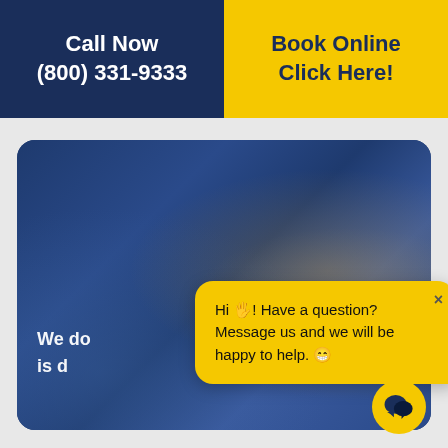Call Now (800) 331-9333
Book Online Click Here!
[Figure (photo): Dark blue blurred background showing hands working with electrical cables and a branded box, with a chat popup overlay and chat icon button]
We do... is d...
Hi 🖐! Have a question? Message us and we will be happy to help. 😁